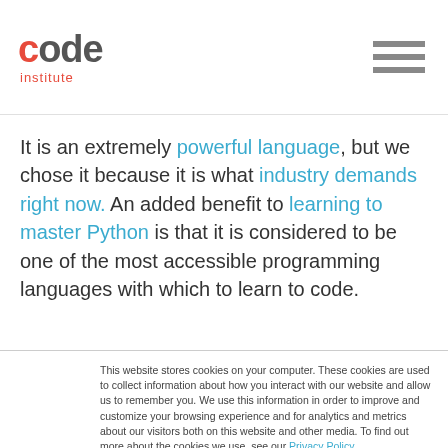Code Institute
It is an extremely powerful language, but we chose it because it is what industry demands right now. An added benefit to learning to master Python is that it is considered to be one of the most accessible programming languages with which to learn to code.
This website stores cookies on your computer. These cookies are used to collect information about how you interact with our website and allow us to remember you. We use this information in order to improve and customize your browsing experience and for analytics and metrics about our visitors both on this website and other media. To find out more about the cookies we use, see our Privacy Policy.